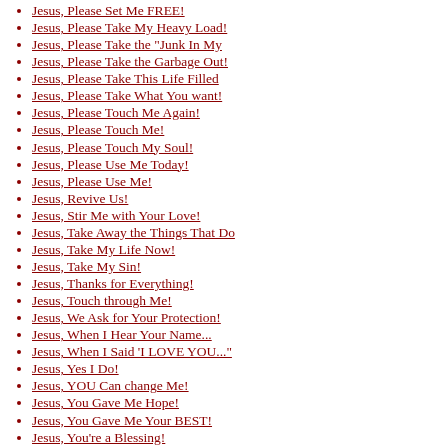Jesus, Please Set Me FREE!
Jesus, Please Take My Heavy Load!
Jesus, Please Take the "Junk In My
Jesus, Please Take the Garbage Out!
Jesus, Please Take This Life Filled
Jesus, Please Take What You want!
Jesus, Please Touch Me Again!
Jesus, Please Touch Me!
Jesus, Please Touch My Soul!
Jesus, Please Use Me Today!
Jesus, Please Use Me!
Jesus, Revive Us!
Jesus, Stir Me with Your Love!
Jesus, Take Away the Things That Do
Jesus, Take My Life Now!
Jesus, Take My Sin!
Jesus, Thanks for Everything!
Jesus, Touch through Me!
Jesus, We Ask for Your Protection!
Jesus, When I Hear Your Name...
Jesus, When I Said 'I LOVE YOU..."
Jesus, Yes I Do!
Jesus, YOU Can change Me!
Jesus, You Gave Me Hope!
Jesus, You Gave Me Your BEST!
Jesus, You're a Blessing!
Jesus, You're A Blessing!
Jesus, You're Beautiful!
Jesus, You're Dear To Me!
Jesus, You're More Than Welcome!